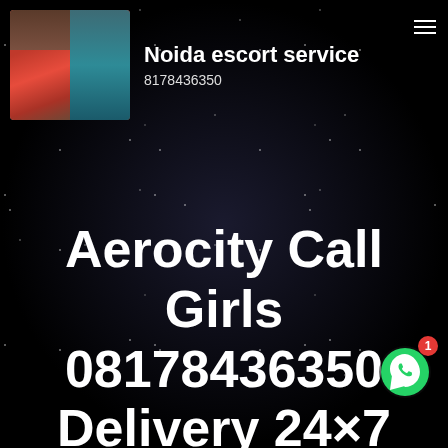[Figure (photo): Profile photo of a woman in red top, sitting on a couch with teal cushion]
Noida escort service
8178436350
Aerocity Call Girls 08178436350 Delivery 24×7 Doorstep Escort Now